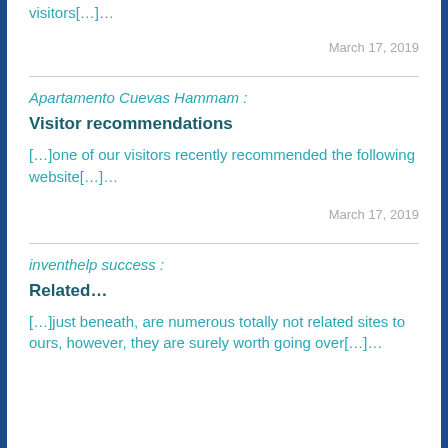visitors[…]…
March 17, 2019
Apartamento Cuevas Hammam :
Visitor recommendations
[…]one of our visitors recently recommended the following website[…]…
March 17, 2019
inventhelp success :
Related…
[…]just beneath, are numerous totally not related sites to ours, however, they are surely worth going over[…]…